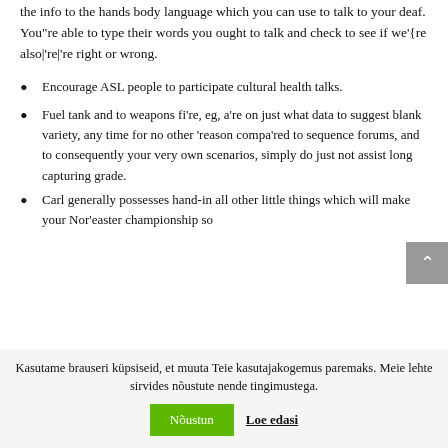the info to the hands body language which you can use to talk to your deaf. You"re able to type their words you ought to talk and check to see if we'{re also|'re|'re right or wrong.
Encourage ASL people to participate cultural health talks.
Fuel tank and to weapons fi're, eg, a're on just what data to suggest blank variety, any time for no other 'reason compa'red to sequence forums, and to consequently your very own scenarios, simply do just not assist long capturing grade.
Carl generally possesses hand-in all other little things which will make your Nor'easter championship so
Kasutame brauseri küpsiseid, et muuta Teie kasutajakogemus paremaks. Meie lehte sirvides nõustute nende tingimustega.
Nõustun   Loe edasi